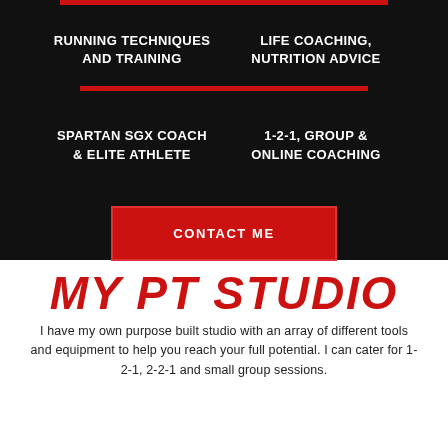RUNNING TECHNIQUES AND TRAINING
LIFE COACHING, NUTRITION ADVICE
SPARTAN SGX COACH & ELITE ATHLETE
1-2-1, GROUP & ONLINE COACHING
CONTACT ME
MY PT STUDIO
I have my own purpose built studio with an array of different tools and equipment to help you reach your full potential. I can cater for 1-2-1, 2-2-1 and small group sessions.